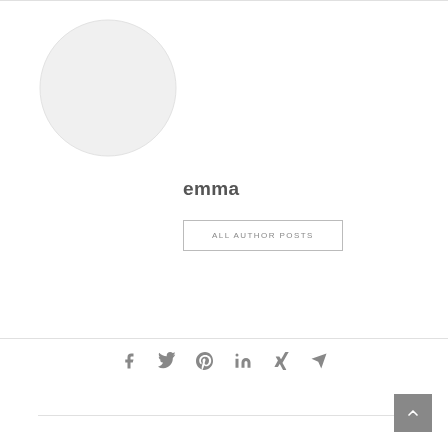[Figure (illustration): Circular avatar placeholder image with light gray fill]
emma
ALL AUTHOR POSTS
[Figure (infographic): Social media share icons: Facebook, Twitter, Pinterest, LinkedIn, Xing, Email/Telegram]